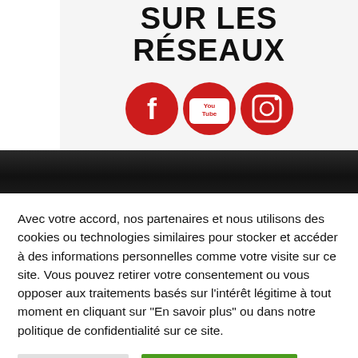SUR LES RÉSEAUX
[Figure (illustration): Three red circular social media icons: Facebook (f), YouTube (play triangle with 'You' and 'Tube' text), Instagram (camera outline)]
Avec votre accord, nos partenaires et nous utilisons des cookies ou technologies similaires pour stocker et accéder à des informations personnelles comme votre visite sur ce site. Vous pouvez retirer votre consentement ou vous opposer aux traitements basés sur l'intérêt légitime à tout moment en cliquant sur "En savoir plus" ou dans notre politique de confidentialité sur ce site.
Paramètres
Accepter et fermer